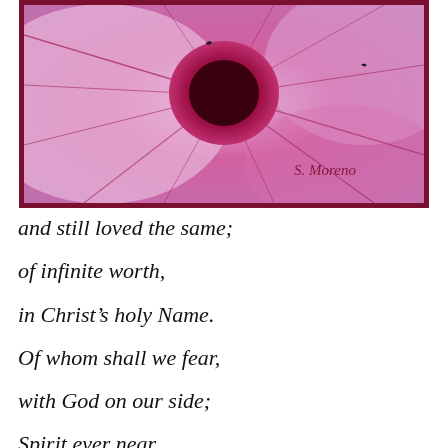[Figure (photo): Close-up photograph of a pink flower with dark crimson center, watermarked 'S. Moreno', framed with a dark red border]
and still loved the same;
of infinite worth,
in Christ's holy Name.
Of whom shall we fear,
with God on our side;
Spirit ever near,
in us, He resides.
His love isn't earned,